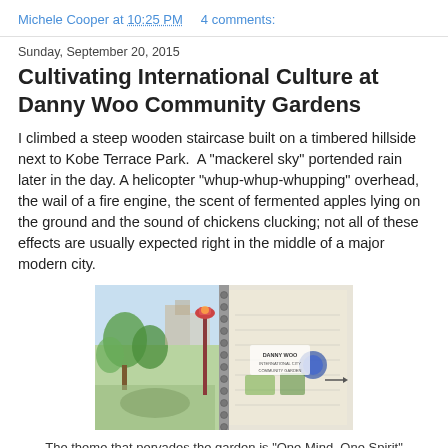Michele Cooper at 10:25 PM    4 comments:
Sunday, September 20, 2015
Cultivating International Culture at Danny Woo Community Gardens
I climbed a steep wooden staircase built on a timbered hillside next to Kobe Terrace Park.  A "mackerel sky" portended rain later in the day. A helicopter "whup-whup-whupping" overhead, the wail of a fire engine, the scent of fermented apples lying on the ground and the sound of chickens clucking; not all of these effects are usually expected right in the middle of a major modern city.
[Figure (illustration): Watercolor sketchbook illustration of Danny Woo Community Gardens showing garden scenes, a lamp post, and text reading 'Danny Woo International City Community Garden']
The theme that pervades the garden is "One Mind, One Spirit"